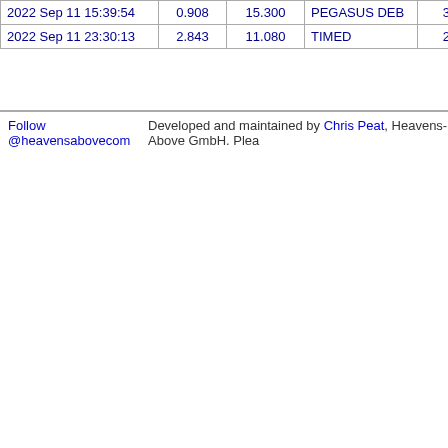| 2022 Sep 11 15:39:54 | 0.908 | 15.300 | PEGASUS DEB | 39917 |  |
| 2022 Sep 11 23:30:13 | 2.843 | 11.080 | TIMED | 26998 |  |
Follow @heavensabovecom    Developed and maintained by Chris Peat, Heavens-Above GmbH. Plea...